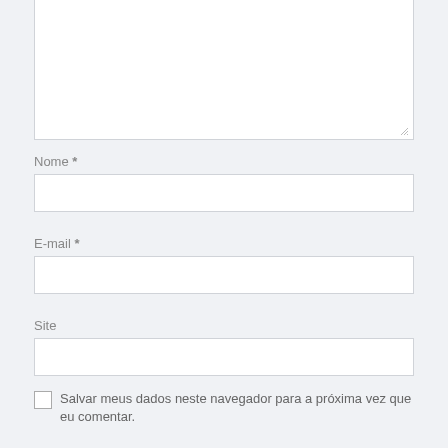Nome *
E-mail *
Site
Salvar meus dados neste navegador para a próxima vez que eu comentar.